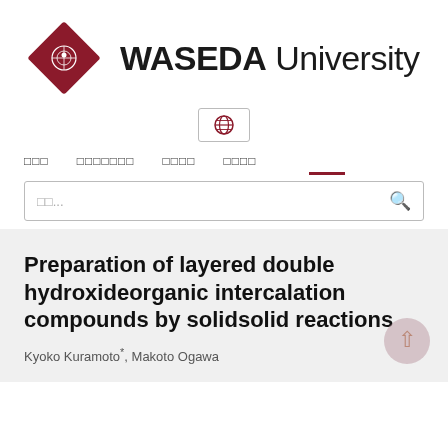[Figure (logo): Waseda University logo: red diamond shape with white crest, and 'WASEDA University' text in bold/regular black sans-serif]
[Figure (other): Globe icon in a bordered button, representing language/international toggle]
□□□   □□□□□□□   □□□□   □□□□
□□...
Preparation of layered double hydroxideorganic intercalation compounds by solidsolid reactions
Kyoko Kuramoto*, Makoto Ogawa